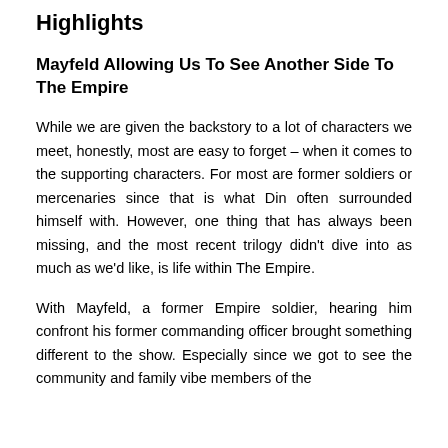Highlights
Mayfeld Allowing Us To See Another Side To The Empire
While we are given the backstory to a lot of characters we meet, honestly, most are easy to forget – when it comes to the supporting characters. For most are former soldiers or mercenaries since that is what Din often surrounded himself with. However, one thing that has always been missing, and the most recent trilogy didn't dive into as much as we'd like, is life within The Empire.
With Mayfeld, a former Empire soldier, hearing him confront his former commanding officer brought something different to the show. Especially since we got to see the community and family vibe members of the